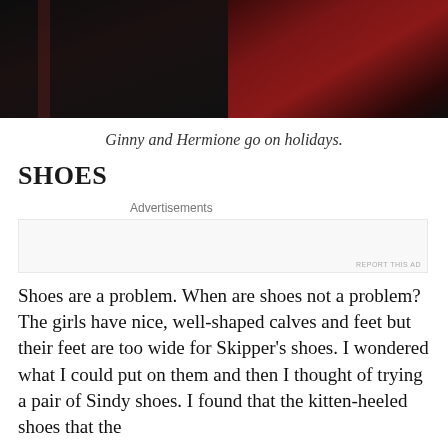[Figure (photo): Two figures in dark and red clothing against a dark background]
Ginny and Hermione go on holidays.
SHOES
Advertisements
REPORT THIS AD
Shoes are a problem. When are shoes not a problem? The girls have nice, well-shaped calves and feet but their feet are too wide for Skipper's shoes. I wondered what I could put on them and then I thought of trying a pair of Sindy shoes. I found that the kitten-heeled shoes that the